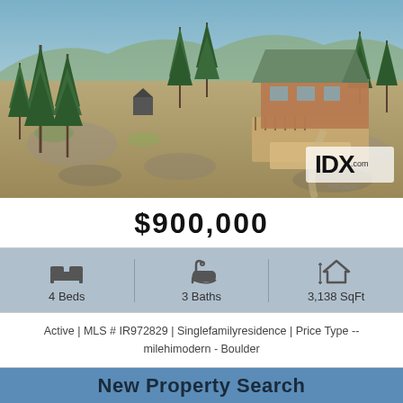[Figure (photo): Aerial drone photograph of a mountain property with a rustic cabin/house surrounded by pine trees and rocky terrain, with mountain ridgeline in background. IDX.com watermark visible in lower right corner.]
$900,000
4 Beds   3 Baths   3,138 SqFt
Active | MLS # IR972829 | Singlefamilyresidence | Price Type -- milehimodern - Boulder
New Property Search